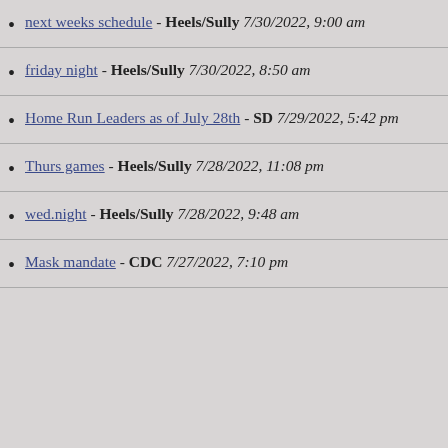next weeks schedule - Heels/Sully 7/30/2022, 9:00 am
friday night - Heels/Sully 7/30/2022, 8:50 am
Home Run Leaders as of July 28th - SD 7/29/2022, 5:42 pm
Thurs games - Heels/Sully 7/28/2022, 11:08 pm
wed.night - Heels/Sully 7/28/2022, 9:48 am
Mask mandate - CDC 7/27/2022, 7:10 pm